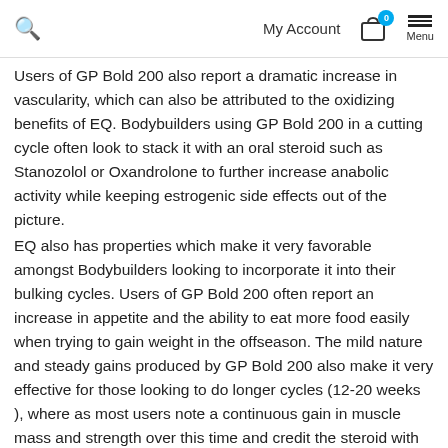Search | My Account | 0 | Menu
Users of GP Bold 200 also report a dramatic increase in vascularity, which can also be attributed to the oxidizing benefits of EQ. Bodybuilders using GP Bold 200 in a cutting cycle often look to stack it with an oral steroid such as Stanozolol or Oxandrolone to further increase anabolic activity while keeping estrogenic side effects out of the picture.
EQ also has properties which make it very favorable amongst Bodybuilders looking to incorporate it into their bulking cycles. Users of GP Bold 200 often report an increase in appetite and the ability to eat more food easily when trying to gain weight in the offseason. The mild nature and steady gains produced by GP Bold 200 also make it very effective for those looking to do longer cycles (12-20 weeks ), where as most users note a continuous gain in muscle mass and strength over this time and credit the steroid with helping the muscles maintain a